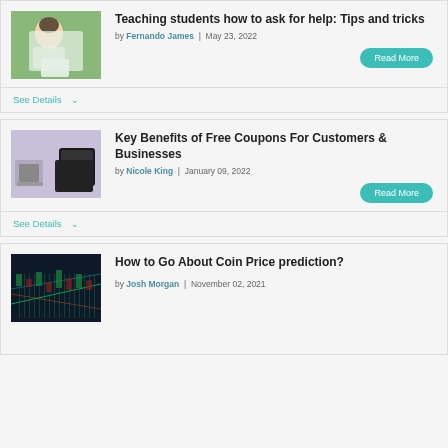Teaching students how to ask for help: Tips and tricks
by Fernando James | May 23, 2022
Read More
See Details
Key Benefits of Free Coupons For Customers & Businesses
by Nicole King | January 09, 2022
Read More
See Details
How to Go About Coin Price prediction?
by Josh Morgan | November 02, 2021